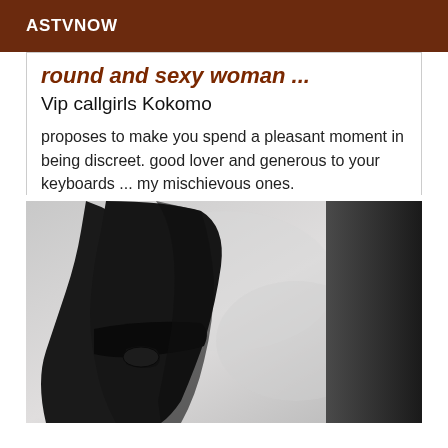ASTVNOW
round and sexy woman ...
Vip callgirls Kokomo
proposes to make you spend a pleasant moment in being discreet. good lover and generous to your keyboards ... my mischievous ones.
[Figure (photo): Grayscale photo of a woman wearing a black dress, torso and lower body visible against a light grey background]